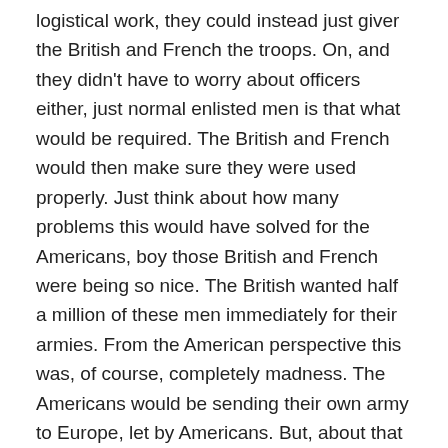logistical work, they could instead just giver the British and French the troops. On, and they didn't have to worry about officers either, just normal enlisted men is that what would be required. The British and French would then make sure they were used properly. Just think about how many problems this would have solved for the Americans, boy those British and French were being so nice. The British wanted half a million of these men immediately for their armies. From the American perspective this was, of course, completely madness. The Americans would be sending their own army to Europe, let by Americans. But, about that army.
The best way to describe the American army in 1917 is anemic, especially on European standards. In a huge difference from today, in 1914 the American people had a